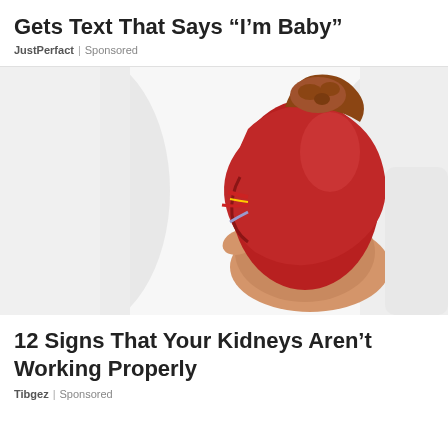Gets Text That Says “I’m Baby”
JustPerfact | Sponsored
[Figure (photo): A hand holding a red anatomical kidney model against a white background, with the adrenal gland visible on top.]
12 Signs That Your Kidneys Aren’t Working Properly
Tibgez | Sponsored